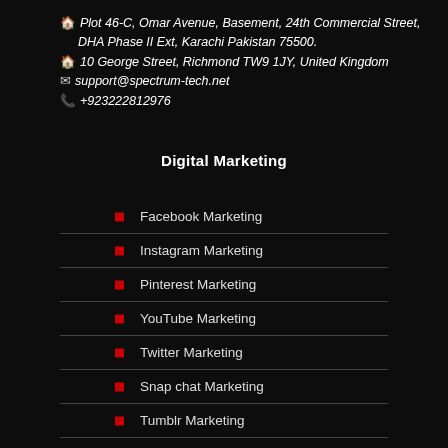🏠 Plot 46-C, Omar Avenue, Basement, 24th Commercial Street, DHA Phase II Ext, Karachi Pakistan 75500.
🏠 10 George Street, Richmond TW9 1JY, United Kingdom
✉ support@spectrum-tech.net
✆ +923222812976
Digital Marketing
Facebook Marketing
Instagram Marketing
Pinterest Marketing
YouTube Marketing
Twitter Marketing
Snap chat Marketing
Tumblr Marketing